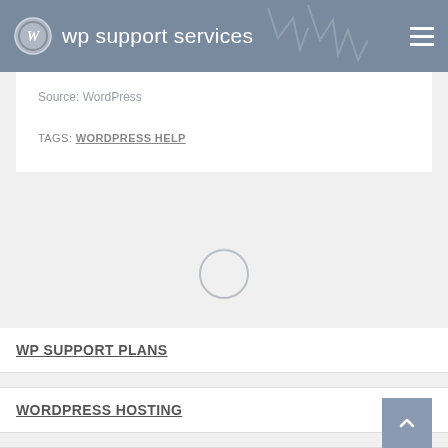wp support services
Source: WordPress
TAGS: WORDPRESS HELP
[Figure (other): Loading spinner ring (circular loading indicator)]
WP SUPPORT PLANS
WORDPRESS HOSTING
NETWORK ANALYSIS